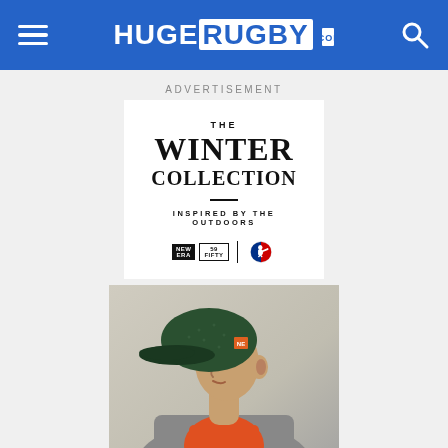HUGE RUGBY
ADVERTISEMENT
[Figure (illustration): The Winter Collection advertisement banner. White background with bold serif text reading 'THE WINTER COLLECTION', tagline 'INSPIRED BY THE OUTDOORS', and brand logos including New Era and MLB.]
[Figure (photo): A young man wearing a dark green speckled New Era baseball cap and an orange hoodie under a grey jacket, looking to the left in a fashion/lifestyle pose.]